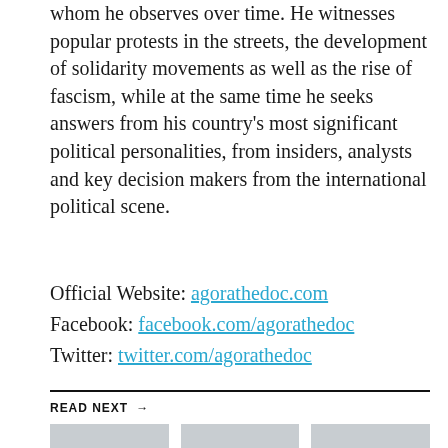whom he observes over time. He witnesses popular protests in the streets, the development of solidarity movements as well as the rise of fascism, while at the same time he seeks answers from his country's most significant political personalities, from insiders, analysts and key decision makers from the international political scene.
Official Website: agorathedoc.com
Facebook: facebook.com/agorathedoc
Twitter: twitter.com/agorathedoc
READ NEXT →
[Figure (photo): Gray placeholder image for article card 1]
ARTS & ENTERTAINMENT
[Figure (photo): Gray placeholder image for article card 2]
ARTS & ENTERTAINMENT
[Figure (photo): Gray placeholder image for article card 3]
ARTS & ENTERTAINMENT